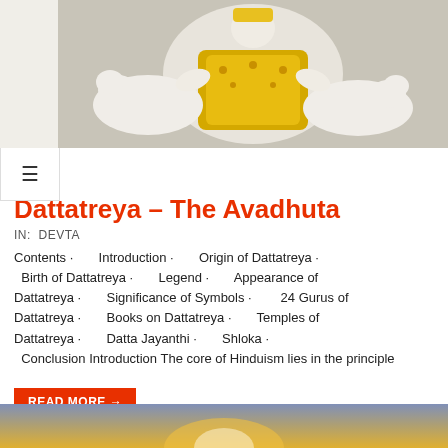[Figure (photo): White idol/statue of a deity with yellow ornamental clothing, flanked by white animals (likely cows), on a gray background]
Dattatreya – The Avadhuta
IN:  DEVTA
Contents ·  Introduction ·  Origin of Dattatreya ·  Birth of Dattatreya ·  Legend ·  Appearance of Dattatreya ·  Significance of Symbols ·  24 Gurus of Dattatreya ·  Books on Dattatreya ·  Temples of Dattatreya ·  Datta Jayanthi ·  Shloka · Conclusion Introduction The core of Hinduism lies in the principle
READ MORE →
[Figure (photo): Partial image visible at bottom of page, appears to show a deity or spiritual figure with warm orange/gold tones]